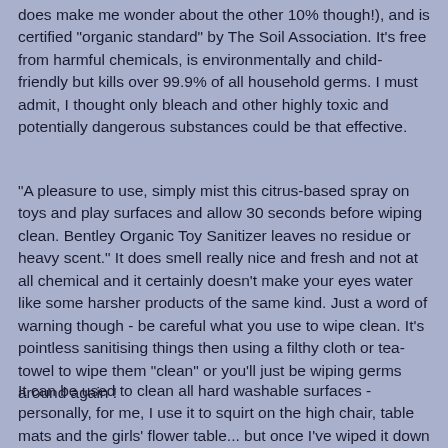does make me wonder about the other 10% though!), and is certified "organic standard" by The Soil Association. It's free from harmful chemicals, is environmentally and child-friendly but kills over 99.9% of all household germs. I must admit, I thought only bleach and other highly toxic and potentially dangerous substances could be that effective.
"A pleasure to use, simply mist this citrus-based spray on toys and play surfaces and allow 30 seconds before wiping clean. Bentley Organic Toy Sanitizer leaves no residue or heavy scent." It does smell really nice and fresh and not at all chemical and it certainly doesn't make your eyes water like some harsher products of the same kind. Just a word of warning though - be careful what you use to wipe clean. It's pointless sanitising things then using a filthy cloth or tea-towel to wipe them "clean" or you'll just be wiping germs around again !
It can be used to clean all hard washable surfaces - personally, for me, I use it to squirt on the high chair, table mats and the girls' flower table... but once I've wiped it down